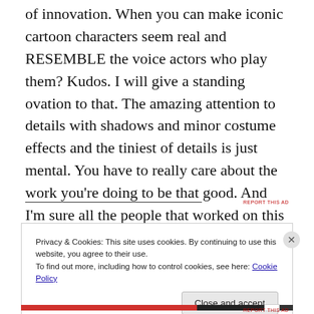of innovation. When you can make iconic cartoon characters seem real and RESEMBLE the voice actors who play them? Kudos. I will give a standing ovation to that. The amazing attention to details with shadows and minor costume effects and the tiniest of details is just mental. You have to really care about the work you’re doing to be that good. And I’m sure all the people that worked on this movie were.
Privacy & Cookies: This site uses cookies. By continuing to use this website, you agree to their use. To find out more, including how to control cookies, see here: Cookie Policy
Close and accept